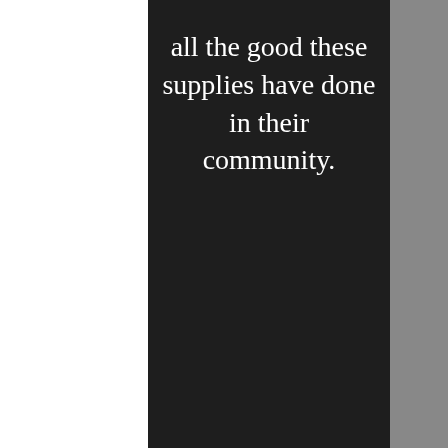all the good these supplies have done in their community.